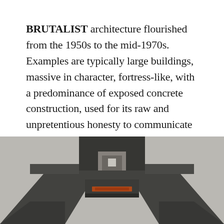BRUTALIST architecture flourished from the 1950s to the mid-1970s. Examples are typically large buildings, massive in character, fortress-like, with a predominance of exposed concrete construction, used for its raw and unpretentious honesty to communicate strength and functionality.
[Figure (photo): Bottom portion of a Brutalist building photographed from below, showing dark concrete massing with geometric stepped forms, a central opening/arch, and an orange/red accent element. The building appears fortress-like with heavy raw concrete construction.]